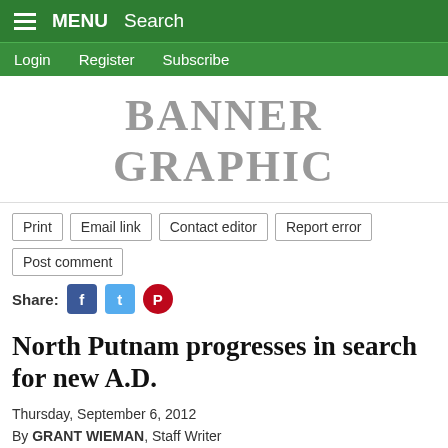MENU  Search
Login  Register  Subscribe
BANNER GRAPHIC
Print  Email link  Contact editor  Report error  Post comment
Share:
North Putnam progresses in search for new A.D.
Thursday, September 6, 2012
By GRANT WIEMAN, Staff Writer
BAINBRIDGE -- The process of hiring a new athletic director is under way for North Putnam.